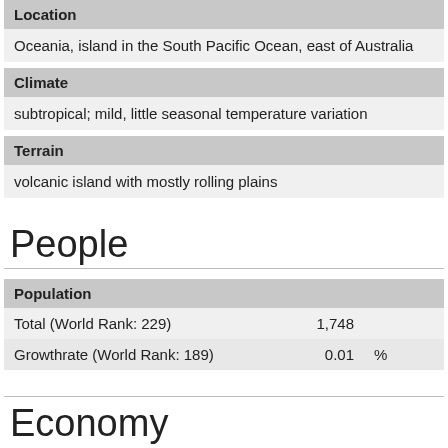| Location |
| --- |
| Oceania, island in the South Pacific Ocean, east of Australia |
| Climate |
| --- |
| subtropical; mild, little seasonal temperature variation |
| Terrain |
| --- |
| volcanic island with mostly rolling plains |
People
| Population |  |  |
| --- | --- | --- |
| Total (World Rank: 229) | 1,748 |  |
| Growthrate (World Rank: 189) | 0.01 | % |
Economy